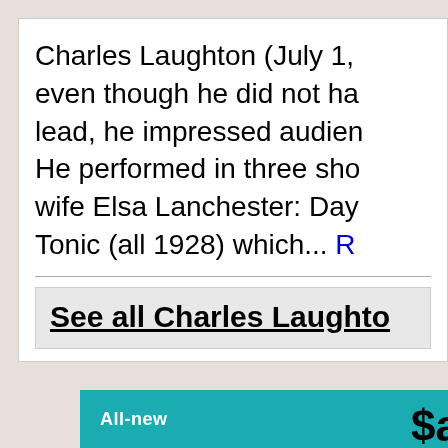Charles Laughton (July 1, even though he did not ha lead, he impressed audien He performed in three sho wife Elsa Lanchester: Day Tonic (all 1928) which... R
See all Charles Laughto
All-new